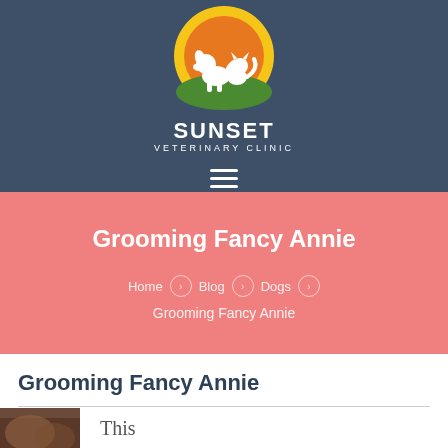[Figure (logo): Sunset Veterinary Clinic logo: circular sunset design with silhouettes of a dog and cat, orange and yellow colors, on dark blue-grey background. Text reads SUNSET VETERINARY CLINIC in white.]
Grooming Fancy Annie
Home › Blog › Dogs › Grooming Fancy Annie
Grooming Fancy Annie
[Figure (photo): Partial photo of a dog being groomed, bottom edge visible.]
This